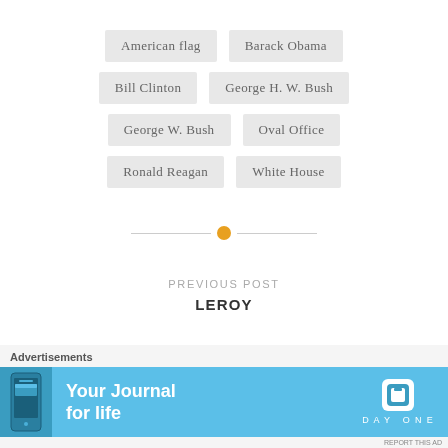American flag
Barack Obama
Bill Clinton
George H. W. Bush
George W. Bush
Oval Office
Ronald Reagan
White House
PREVIOUS POST
LEROY
Advertisements
[Figure (screenshot): Day One app advertisement banner: 'Your Journal for life' with phone image and Day One logo on blue background]